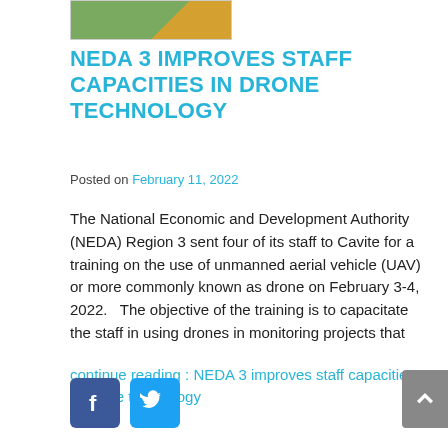[Figure (photo): Thumbnail image of a drone/UAV, partially visible at top]
NEDA 3 IMPROVES STAFF CAPACITIES IN DRONE TECHNOLOGY
Posted on February 11, 2022
The National Economic and Development Authority (NEDA) Region 3 sent four of its staff to Cavite for a training on the use of unmanned aerial vehicle (UAV) or more commonly known as drone on February 3-4, 2022.   The objective of the training is to capacitate the staff in using drones in monitoring projects that
continue reading : NEDA 3 improves staff capacities in drone technology